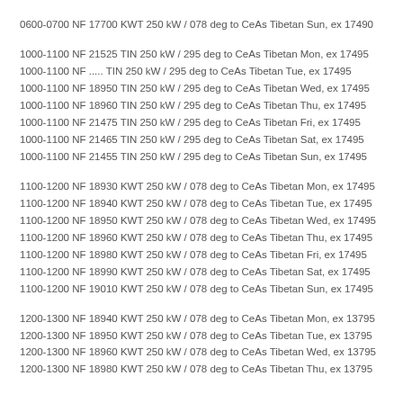0600-0700 NF 17700 KWT 250 kW / 078 deg to CeAs Tibetan Sun, ex 17490
1000-1100 NF 21525 TIN 250 kW / 295 deg to CeAs Tibetan Mon, ex 17495
1000-1100 NF ..... TIN 250 kW / 295 deg to CeAs Tibetan Tue, ex 17495
1000-1100 NF 18950 TIN 250 kW / 295 deg to CeAs Tibetan Wed, ex 17495
1000-1100 NF 18960 TIN 250 kW / 295 deg to CeAs Tibetan Thu, ex 17495
1000-1100 NF 21475 TIN 250 kW / 295 deg to CeAs Tibetan Fri, ex 17495
1000-1100 NF 21465 TIN 250 kW / 295 deg to CeAs Tibetan Sat, ex 17495
1000-1100 NF 21455 TIN 250 kW / 295 deg to CeAs Tibetan Sun, ex 17495
1100-1200 NF 18930 KWT 250 kW / 078 deg to CeAs Tibetan Mon, ex 17495
1100-1200 NF 18940 KWT 250 kW / 078 deg to CeAs Tibetan Tue, ex 17495
1100-1200 NF 18950 KWT 250 kW / 078 deg to CeAs Tibetan Wed, ex 17495
1100-1200 NF 18960 KWT 250 kW / 078 deg to CeAs Tibetan Thu, ex 17495
1100-1200 NF 18980 KWT 250 kW / 078 deg to CeAs Tibetan Fri, ex 17495
1100-1200 NF 18990 KWT 250 kW / 078 deg to CeAs Tibetan Sat, ex 17495
1100-1200 NF 19010 KWT 250 kW / 078 deg to CeAs Tibetan Sun, ex 17495
1200-1300 NF 18940 KWT 250 kW / 078 deg to CeAs Tibetan Mon, ex 13795
1200-1300 NF 18950 KWT 250 kW / 078 deg to CeAs Tibetan Tue, ex 13795
1200-1300 NF 18960 KWT 250 kW / 078 deg to CeAs Tibetan Wed, ex 13795
1200-1300 NF 18980 KWT 250 kW / 078 deg to CeAs Tibetan Thu, ex 13795